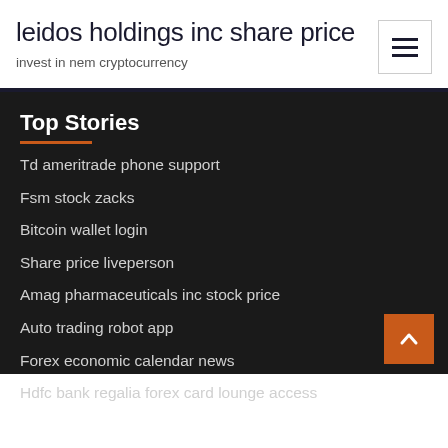leidos holdings inc share price
invest in nem cryptocurrency
Top Stories
Td ameritrade phone support
Fsm stock zacks
Bitcoin wallet login
Share price liveperson
Amag pharmaceuticals inc stock price
Auto trading robot app
Forex economic calendar news
Hdfc bank regalia forex card lounge access